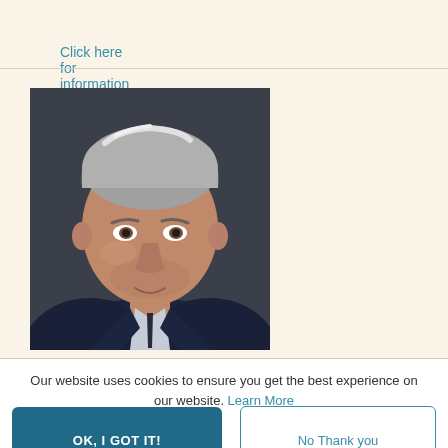Click here for information about Cathy Malchiodi.
[Figure (photo): Professional headshot of a middle-aged man with silver/gray hair wearing a dark navy suit and light blue shirt, photographed against a dark gray background]
Our website uses cookies to ensure you get the best experience on our website. Learn More
OK, I GOT IT!
No Thank you